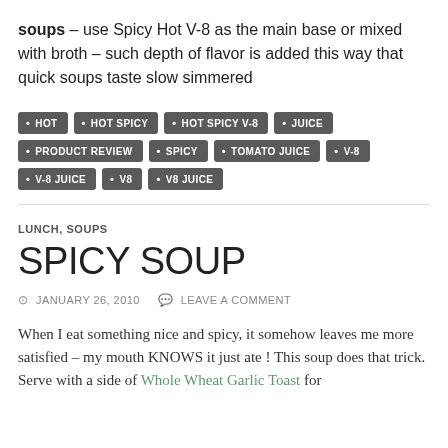soups – use Spicy Hot V-8 as the main base or mixed with broth – such depth of flavor is added this way that quick soups taste slow simmered
HOT
HOT SPICY
HOT SPICY V-8
JUICE
PRODUCT REVIEW
SPICY
TOMATO JUICE
V-8
V-8 JUICE
V8
V8 JUICE
LUNCH, SOUPS
SPICY SOUP
JANUARY 26, 2010   LEAVE A COMMENT
When I eat something nice and spicy, it somehow leaves me more satisfied – my mouth KNOWS it just ate ! This soup does that trick. Serve with a side of Whole Wheat Garlic Toast for…